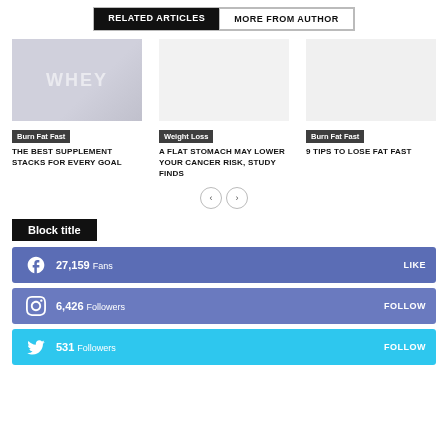RELATED ARTICLES | MORE FROM AUTHOR
[Figure (photo): Article thumbnail showing a whey protein product image with grayish background]
Burn Fat Fast
THE BEST SUPPLEMENT STACKS FOR EVERY GOAL
Weight Loss
A FLAT STOMACH MAY LOWER YOUR CANCER RISK, STUDY FINDS
Burn Fat Fast
9 TIPS TO LOSE FAT FAST
Block title
f  27,159  Fans  LIKE
Instagram  6,426  Followers  FOLLOW
Twitter  531  Followers  FOLLOW